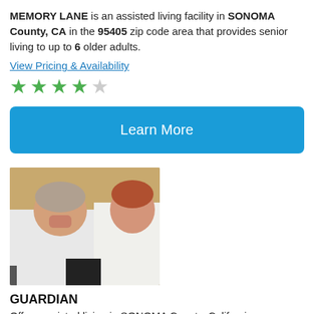MEMORY LANE is an assisted living facility in SONOMA County, CA in the 95405 zip code area that provides senior living to up to 6 older adults.
View Pricing & Availability
[Figure (other): 4 out of 5 green star rating]
Learn More
[Figure (photo): Photo of an elderly woman smiling with a younger caregiver/nurse]
GUARDIAN
Offers assisted living in SONOMA County, California